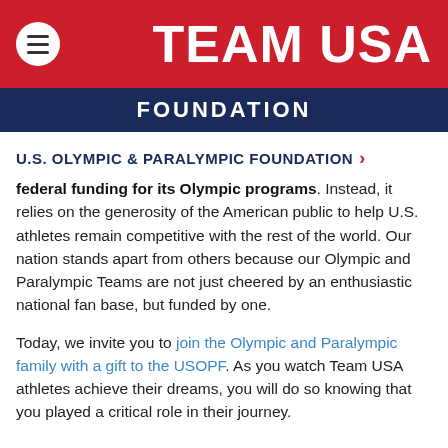TEAM USA
FOUNDATION
U.S. OLYMPIC & PARALYMPIC FOUNDATION
federal funding for its Olympic programs. Instead, it relies on the generosity of the American public to help U.S. athletes remain competitive with the rest of the world. Our nation stands apart from others because our Olympic and Paralympic Teams are not just cheered by an enthusiastic national fan base, but funded by one.
Today, we invite you to join the Olympic and Paralympic family with a gift to the USOPF. As you watch Team USA athletes achieve their dreams, you will do so knowing that you played a critical role in their journey.